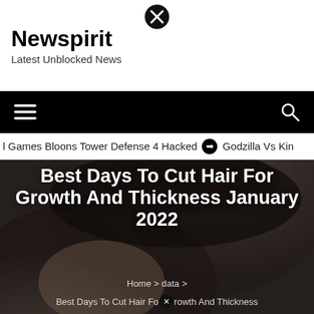Newspirit
Latest Unblocked News
[Figure (other): Close/X button icon circle with X mark, centered at top of page]
[Figure (other): Black navigation bar with hamburger menu icon on left and search icon on right]
l Games Bloons Tower Defense 4 Hacked  ➔  Godzilla Vs Kin
[Figure (photo): Photo of back and side of person's head with dark short hair cut/fade, dark background]
Best Days To Cut Hair For Growth And Thickness January 2022
Home > data >
Best Days To Cut Hair For Growth And Thickness